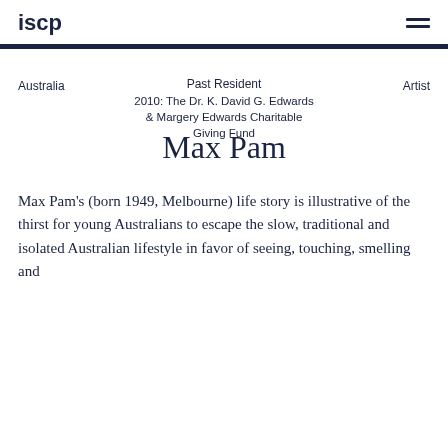iscp
Australia	Past Resident	Artist
2010: The Dr. K. David G. Edwards & Margery Edwards Charitable Giving Fund
Max Pam
Max Pam's (born 1949, Melbourne) life story is illustrative of the thirst for young Australians to escape the slow, traditional and isolated Australian lifestyle in favor of seeing, touching, smelling and